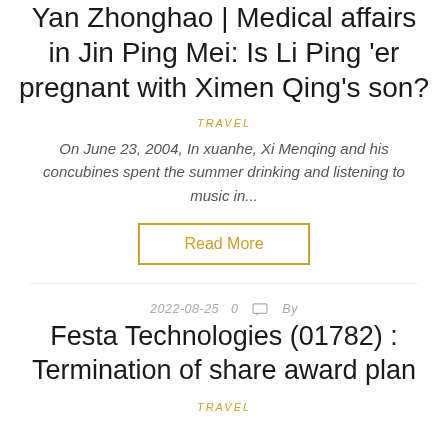Yan Zhonghao | Medical affairs in Jin Ping Mei: Is Li Ping 'er pregnant with Ximen Qing's son?
TRAVEL
On June 23, 2004, In xuanhe, Xi Menqing and his concubines spent the summer drinking and listening to music in...
Read More
2022-08-25   0   By
Festa Technologies (01782) : Termination of share award plan
TRAVEL